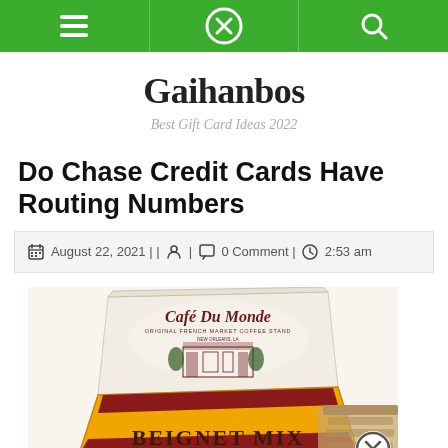Gaihanbos navigation bar
Gaihanbos
Best Gift Card Ideas 2022
Do Chase Credit Cards Have Routing Numbers
August 22, 2021 || 0 Comment | 2:53 am
[Figure (photo): Cafe Du Monde Beignet Mix box product photo]